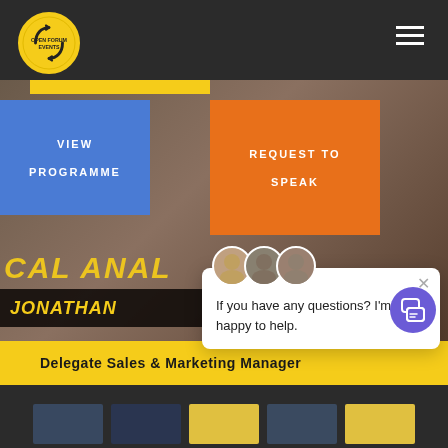[Figure (logo): Open Forum Events circular logo, yellow circle with black text and curved arrow]
[Figure (infographic): Navigation buttons overlaid on hero image: blue VIEW PROGRAMME button and orange REQUEST TO SPEAK button]
VIEW

PROGRAMME
REQUEST TO

SPEAK
[Figure (photo): Portrait photo of a smiling man (Jonathan) at an event, with partial text CAL ANAL and forum backdrop visible]
CAL ANAL
JONATHAN
Delegate Sales & Marketing Manager
[Figure (screenshot): Chat popup widget with avatars showing 'If you have any questions? I'm happy to help.']
If you have any questions? I'm happy to help.
[Figure (screenshot): Purple chat bubble button at bottom right]
[Figure (photo): Bottom strip showing partial Open Forum Events materials/brochures]